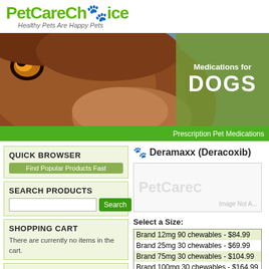PetCareChoice — Healthy Pets Are Happy Pets
[Figure (photo): Close-up of a brown dog's face (eye and snout) with blue sky background, banner overlay reading 'Medications for DOGS']
Prescription Pet Medications
QUICK BROWSER
Find Popular Products Fast
SEARCH PRODUCTS
SHOPPING CART
There are currently no items in the cart.
CUSTOMER LOGIN
New Customer Sign Up
Forgot Password?
Deramaxx (Deracoxib)
[Figure (screenshot): Product image placeholder showing PetCareChoice watermark text and 'Image Not Available' message]
Select a Size:
| Brand 12mg 90 chewables - $84.99 |
| Brand 25mg 30 chewables - $69.99 |
| Brand 75mg 30 chewables - $104.99 |
| Brand 100mg 30 chewables - $164.99 |
Quantity: 1  Buy Now